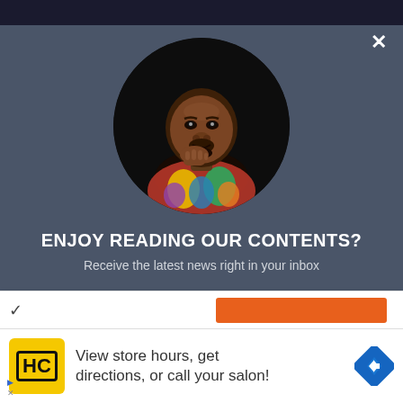[Figure (photo): Circular portrait photo of a man wearing a colorful African print shirt, hand on chin in thoughtful pose, dark background]
ENJOY READING OUR CONTENTS?
Receive the latest news right in your inbox
[Figure (infographic): Advertisement bar: HC logo in yellow square, text 'View store hours, get directions, or call your salon!', blue navigation diamond icon on right]